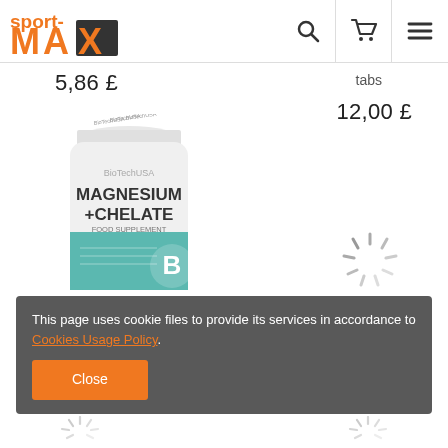[Figure (logo): sport-MAX logo in orange and dark colors]
5,86 £
tabs
12,00 £
[Figure (photo): BioTechUSA Magnesium + Chelate supplement bottle, white with teal label]
[Figure (other): Loading spinner graphic]
BIOTECH Magnesium + Chelate 60 caps
BIOTECH Vitamin C 1000 100 tab
This page uses cookie files to provide its services in accordance to Cookies Usage Policy.
Close